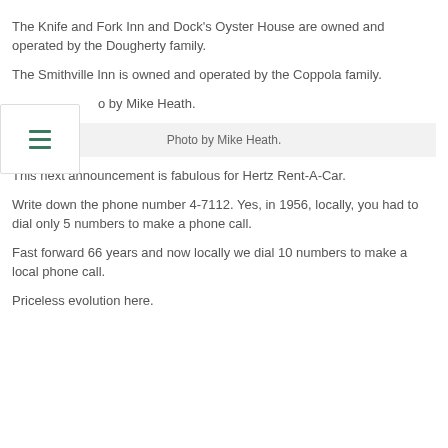The Knife and Fork Inn and Dock’s Oyster House are owned and operated by the Dougherty family.
The Smithville Inn is owned and operated by the Coppola family.
o by Mike Heath.
Photo by Mike Heath.
This next announcement is fabulous for Hertz Rent-A-Car.
Write down the phone number 4-7112. Yes, in 1956, locally, you had to dial only 5 numbers to make a phone call.
Fast forward 66 years and now locally we dial 10 numbers to make a local phone call.
Priceless evolution here.